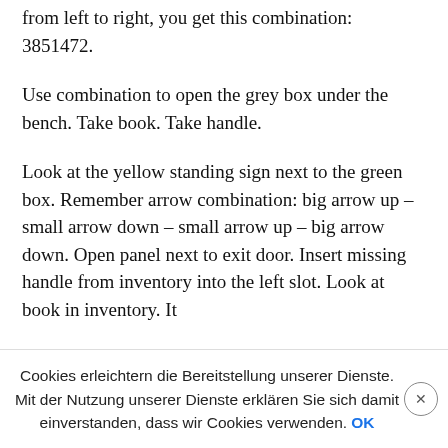from left to right, you get this combination: 3851472.
Use combination to open the grey box under the bench. Take book. Take handle.
Look at the yellow standing sign next to the green box. Remember arrow combination: big arrow up – small arrow down – small arrow up – big arrow down. Open panel next to exit door. Insert missing handle from inventory into the left slot. Look at book in inventory. It
Cookies erleichtern die Bereitstellung unserer Dienste. Mit der Nutzung unserer Dienste erklären Sie sich damit einverstanden, dass wir Cookies verwenden.